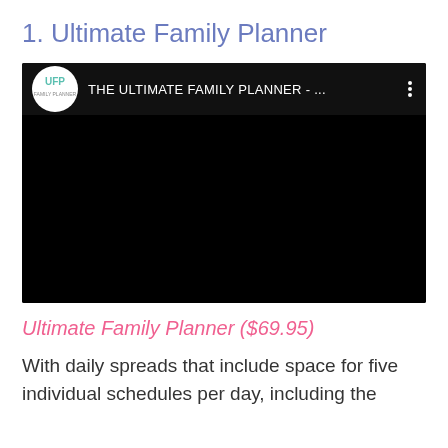1. Ultimate Family Planner
[Figure (screenshot): Embedded video player screenshot showing a black video with a top bar containing the Ultimate Family Planner logo (UFP initials in teal circle) and title text 'THE ULTIMATE FAMILY PLANNER - ...' with a three-dot menu icon.]
Ultimate Family Planner ($69.95)
With daily spreads that include space for five individual schedules per day, including the